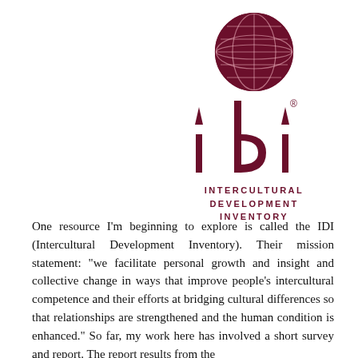[Figure (logo): IDI (Intercultural Development Inventory) logo: dark maroon globe at top, stylized 'idi' letters in dark maroon below, then text 'INTERCULTURAL DEVELOPMENT INVENTORY' in spaced caps]
One resource I'm beginning to explore is called the IDI (Intercultural Development Inventory). Their mission statement: "we facilitate personal growth and insight and collective change in ways that improve people's intercultural competence and their efforts at bridging cultural differences so that relationships are strengthened and the human condition is enhanced." So far, my work here has involved a short survey and report. The report results from the survey are unsettling and revealing (at least they were for